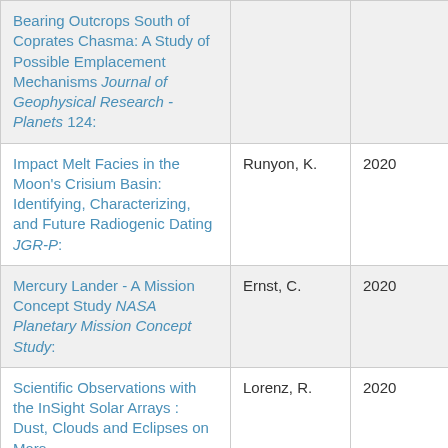| Title | Author | Year |
| --- | --- | --- |
| Bearing Outcrops South of Coprates Chasma: A Study of Possible Emplacement Mechanisms Journal of Geophysical Research - Planets 124: |  |  |
| Impact Melt Facies in the Moon's Crisium Basin: Identifying, Characterizing, and Future Radiogenic Dating JGR-P: | Runyon, K. | 2020 |
| Mercury Lander - A Mission Concept Study NASA Planetary Mission Concept Study: | Ernst, C. | 2020 |
| Scientific Observations with the InSight Solar Arrays : Dust, Clouds and Eclipses on Mars | Lorenz, R. | 2020 |